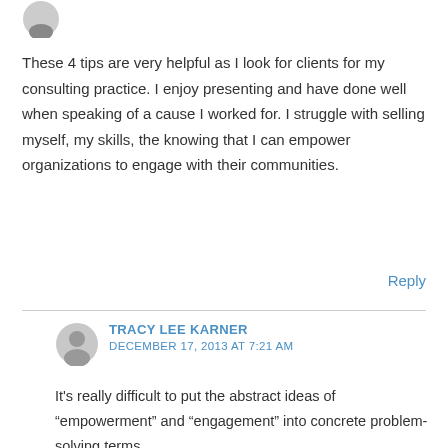[Figure (illustration): Small circular avatar icon (partial, top of page)]
These 4 tips are very helpful as I look for clients for my consulting practice. I enjoy presenting and have done well when speaking of a cause I worked for. I struggle with selling myself, my skills, the knowing that I can empower organizations to engage with their communities.
Reply
[Figure (illustration): Circular grey avatar icon for Tracy Lee Karner]
TRACY LEE KARNER
DECEMBER 17, 2013 AT 7:21 AM
It’s really difficult to put the abstract ideas of “empowerment” and “engagement” into concrete problem-solving terms.
(P.S. Richard is a member of that collaborative entrepreneurial group I was telling you about…)